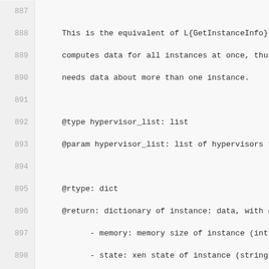Code listing lines 887–911: Python docstring and function body for GetAllInstanceInfo
887: (empty)
888: This is the equivalent of L{GetInstanceInfo}, except
889: computes data for all instances at once, thus being f
890: needs data about more than one instance.
891: (empty)
892: @type hypervisor_list: list
893: @param hypervisor_list: list of hypervisors to query
894: (empty)
895: @rtype: dict
896: @return: dictionary of instance: data, with data havi
897:     - memory: memory size of instance (int)
898:     - state: xen state of instance (string)
899:     - time: cpu time of instance (float)
900:     - vcpus: the number of vcpus
901: (empty)
902: """
903: output = {}
904: (empty)
905: for hname in hypervisor_list:
906:   iinfo = hypervisor.GetHypervisor(hname).GetAllInsta
907:   if iinfo:
908:     for name, _, memory, vcpus, state, times in iinfo
909:       value = {
910:           "memory": memory,
911:           "vcpus": vcpus,